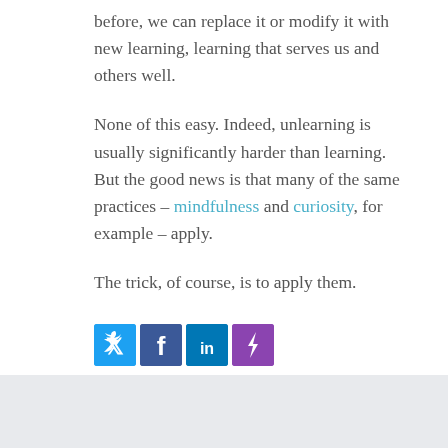before, we can replace it or modify it with new learning, learning that serves us and others well.
None of this easy. Indeed, unlearning is usually significantly harder than learning. But the good news is that many of the same practices – mindfulness and curiosity, for example – apply.
The trick, of course, is to apply them.
[Figure (infographic): Social sharing icons: Twitter (blue), Facebook (dark blue), LinkedIn (blue), Bolt/share (purple)]
Filed Under: JTC, Learning Habits